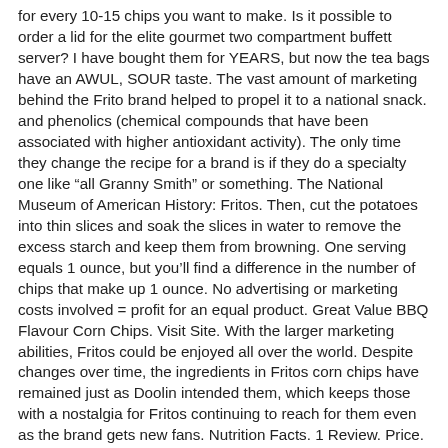for every 10-15 chips you want to make. Is it possible to order a lid for the elite gourmet two compartment buffett server? I have bought them for YEARS, but now the tea bags have an AWUL, SOUR taste. The vast amount of marketing behind the Frito brand helped to propel it to a national snack. and phenolics (chemical compounds that have been associated with higher antioxidant activity). The only time they change the recipe for a brand is if they do a specialty one like “all Granny Smith” or something. The National Museum of American History: Fritos. Then, cut the potatoes into thin slices and soak the slices in water to remove the excess starch and keep them from browning. One serving equals 1 ounce, but you’ll find a difference in the number of chips that make up 1 ounce. No advertising or marketing costs involved = profit for an equal product. Great Value BBQ Flavour Corn Chips. Visit Site. With the larger marketing abilities, Fritos could be enjoyed all over the world. Despite changes over time, the ingredients in Fritos corn chips have remained just as Doolin intended them, which keeps those with a nostalgia for Fritos continuing to reach for them even as the brand gets new fans. Nutrition Facts. 1 Review. Price. Texas Hill Country. Product Title Great Value Bite Size Tortilla Chips Party Size, 18 oz Average Rating: ( 4.6 ) out of 5 stars 108 ratings , based on 108 reviews Current Price $2.38 $ 2 . Corn Chips (Great Value) Per 1 oz - Calories: 160kcal | Fat: 10.00g | Carbs: 16.00g | Protein: 2.00g Nutrition Facts - Similar. : Calorie breakdown: 56% fat, 40% carbs, 5% protein. Though popular across the country today, Fritos are a truly Texas treat. Though Doolin did not invent Fritos corn chips, he did perfect and popularize them. If notice all the answers,there are no straight answers.Good old WAL-MART only sells their own here THEY let RED CHINA make all the